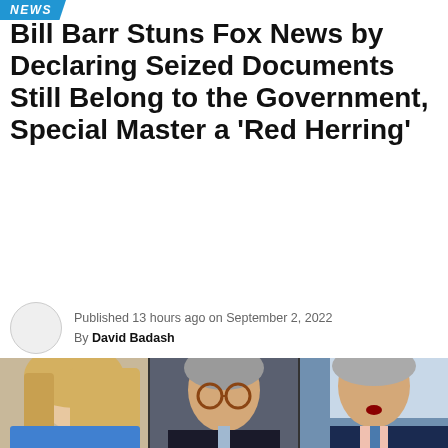NEWS
Bill Barr Stuns Fox News by Declaring Seized Documents Still Belong to the Government, Special Master a ‘Red Herring’
Published 13 hours ago on September 2, 2022
By David Badash
[Figure (photo): Three-panel composite photo showing a blonde female Fox News anchor on the left, Bill Barr wearing round glasses in the center, and another man in a navy suit on the right, all appearing to be from a Fox News broadcast.]